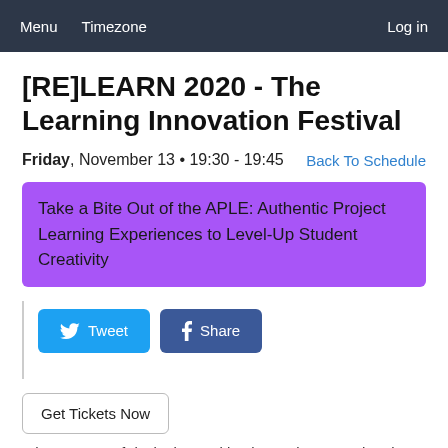Menu  Timezone  Log in
[RE]LEARN 2020 - The Learning Innovation Festival
Friday, November 13 • 19:30 - 19:45    Back To Schedule
Take a Bite Out of the APLE: Authentic Project Learning Experiences to Level-Up Student Creativity
[Figure (other): Social share buttons: Tweet (Twitter) and Share (Facebook)]
Get Tickets Now
The process of designing and implementing an authentic